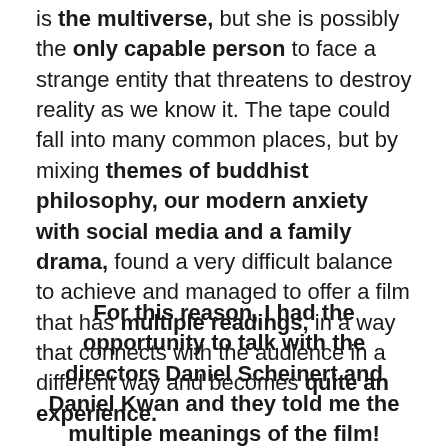is the multiverse, but she is possibly the only capable person to face a strange entity that threatens to destroy reality as we know it. The tape could fall into many common places, but by mixing themes of buddhist philosophy, our modern anxiety with social media and a family drama, found a very difficult balance to achieve and managed to offer a film that has multiple readings, in a way that connects with the audience in a different way and becomes quite an experience.
For this reason, I had the opportunity to talk with the directors Daniel Scheinert and Daniel Kwan and they told me the multiple meanings of the film!